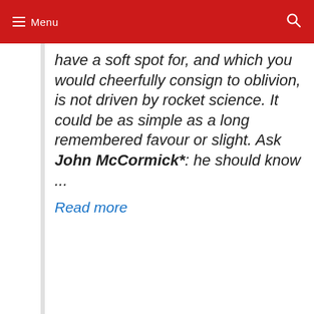Menu
have a soft spot for, and which you would cheerfully consign to oblivion, is not driven by rocket science. It could be as simple as a long remembered favour or slight. Ask John McCormick*: he should know ...
Read more